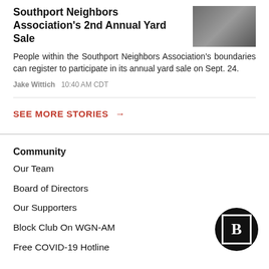Southport Neighbors Association's 2nd Annual Yard Sale
[Figure (photo): Thumbnail photo of a street scene or storefront, grayscale]
People within the Southport Neighbors Association's boundaries can register to participate in its annual yard sale on Sept. 24.
Jake Wittich   10:40 AM CDT
SEE MORE STORIES →
Community
Our Team
Board of Directors
Our Supporters
Block Club On WGN-AM
Free COVID-19 Hotline